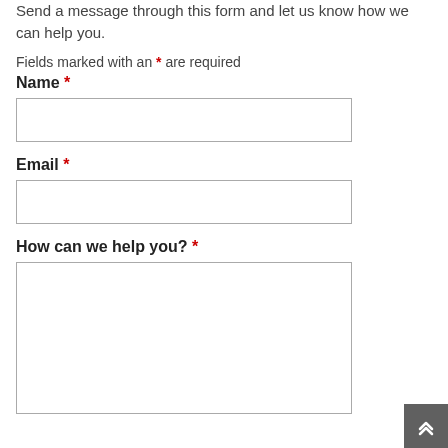Send a message through this form and let us know how we can help you.
Fields marked with an * are required
Name *
Email *
How can we help you? *